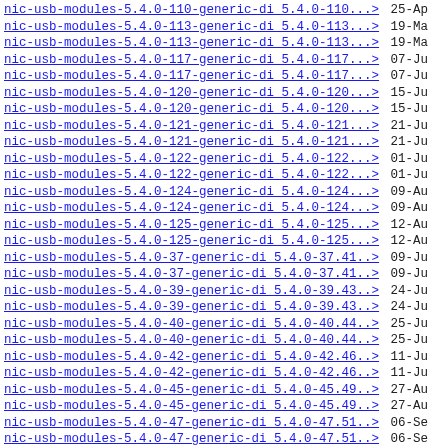nic-usb-modules-5.4.0-110-generic-di 5.4.0-110...> 25-Ap
nic-usb-modules-5.4.0-113-generic-di 5.4.0-113...> 19-Ma
nic-usb-modules-5.4.0-113-generic-di 5.4.0-113...> 19-Ma
nic-usb-modules-5.4.0-117-generic-di 5.4.0-117...> 07-Ju
nic-usb-modules-5.4.0-117-generic-di 5.4.0-117...> 07-Ju
nic-usb-modules-5.4.0-120-generic-di 5.4.0-120...> 15-Ju
nic-usb-modules-5.4.0-120-generic-di 5.4.0-120...> 15-Ju
nic-usb-modules-5.4.0-121-generic-di 5.4.0-121...> 21-Ju
nic-usb-modules-5.4.0-121-generic-di 5.4.0-121...> 21-Ju
nic-usb-modules-5.4.0-122-generic-di 5.4.0-122...> 01-Ju
nic-usb-modules-5.4.0-122-generic-di 5.4.0-122...> 01-Ju
nic-usb-modules-5.4.0-124-generic-di 5.4.0-124...> 09-Au
nic-usb-modules-5.4.0-124-generic-di 5.4.0-124...> 09-Au
nic-usb-modules-5.4.0-125-generic-di 5.4.0-125...> 12-Au
nic-usb-modules-5.4.0-125-generic-di 5.4.0-125...> 12-Au
nic-usb-modules-5.4.0-37-generic-di 5.4.0-37.41..> 09-Ju
nic-usb-modules-5.4.0-37-generic-di 5.4.0-37.41..> 09-Ju
nic-usb-modules-5.4.0-39-generic-di 5.4.0-39.43..> 24-Ju
nic-usb-modules-5.4.0-39-generic-di 5.4.0-39.43..> 24-Ju
nic-usb-modules-5.4.0-40-generic-di 5.4.0-40.44..> 25-Ju
nic-usb-modules-5.4.0-40-generic-di 5.4.0-40.44..> 25-Ju
nic-usb-modules-5.4.0-42-generic-di 5.4.0-42.46..> 11-Ju
nic-usb-modules-5.4.0-42-generic-di 5.4.0-42.46..> 11-Ju
nic-usb-modules-5.4.0-45-generic-di 5.4.0-45.49..> 27-Au
nic-usb-modules-5.4.0-45-generic-di 5.4.0-45.49..> 27-Au
nic-usb-modules-5.4.0-47-generic-di 5.4.0-47.51..> 06-Se
nic-usb-modules-5.4.0-47-generic-di 5.4.0-47.51..> 06-Se
nic-usb-modules-5.4.0-48-generic-di 5.4.0-48.52..> 10-Se
nic-usb-modules-5.4.0-48-generic-di 5.4.0-48.52..> 10-Se
nic-usb-modules-5.4.0-51-generic-di 5.4.0-51.56..> 13-Oc